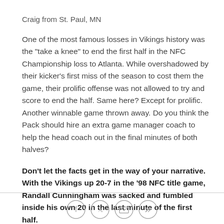Craig from St. Paul, MN
One of the most famous losses in Vikings history was the "take a knee" to end the first half in the NFC Championship loss to Atlanta. While overshadowed by their kicker's first miss of the season to cost them the game, their prolific offense was not allowed to try and score to end the half. Same here? Except for prolific. Another winnable game thrown away. Do you think the Pack should hire an extra game manager coach to help the head coach out in the final minutes of both halves?
Don't let the facts get in the way of your narrative. With the Vikings up 20-7 in the '98 NFC title game, Randall Cunningham was sacked and fumbled inside his own 20 in the last minute of the first half.
[Figure (other): Social media sharing icons: Facebook, Twitter, Email, Link]